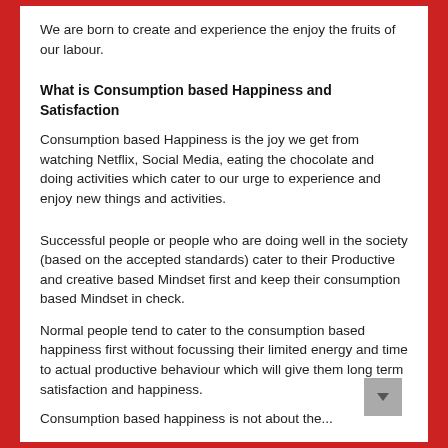We are born to create and experience the enjoy the fruits of our labour.
What is Consumption based Happiness and Satisfaction
Consumption based Happiness is the joy we get from watching Netflix, Social Media, eating the chocolate and doing activities which cater to our urge to experience and enjoy new things and activities.
Successful people or people who are doing well in the society (based on the accepted standards) cater to their Productive and creative based Mindset first and keep their consumption based Mindset in check.
Normal people tend to cater to the consumption based happiness first without focussing their limited energy and time to actual productive behaviour which will give them long term satisfaction and happiness.
Consumption based happiness is not about the...